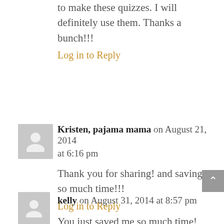to make these quizzes. I will definitely use them. Thanks a bunch!!!
Log in to Reply
Kristen, pajama mama on August 21, 2014 at 6:16 pm
Thank you for sharing! and saving me so much time!!!
Log in to Reply
kelly on August 31, 2014 at 8:57 pm
You just saved me so much time!